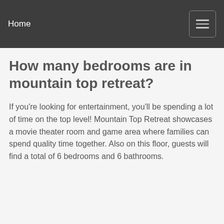Home
How many bedrooms are in mountain top retreat?
If you're looking for entertainment, you'll be spending a lot of time on the top level! Mountain Top Retreat showcases a movie theater room and game area where families can spend quality time together. Also on this floor, guests will find a total of 6 bedrooms and 6 bathrooms.